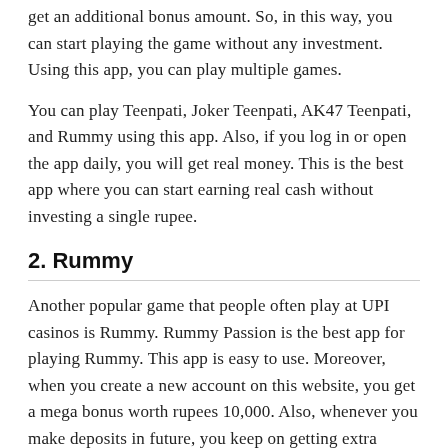get an additional bonus amount. So, in this way, you can start playing the game without any investment. Using this app, you can play multiple games.
You can play Teenpati, Joker Teenpati, AK47 Teenpati, and Rummy using this app. Also, if you log in or open the app daily, you will get real money. This is the best app where you can start earning real cash without investing a single rupee.
2. Rummy
Another popular game that people often play at UPI casinos is Rummy. Rummy Passion is the best app for playing Rummy. This app is easy to use. Moreover, when you create a new account on this website, you get a mega bonus worth rupees 10,000. Also, whenever you make deposits in future, you keep on getting extra bonuses. You can play this game on your mobile, as well as on your laptop.